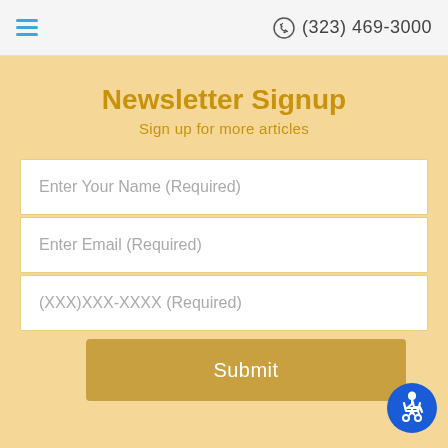(323) 469-3000
Newsletter Signup
Sign up for more articles
Enter Your Name (Required)
Enter Email (Required)
(XXX)XXX-XXXX (Required)
Submit